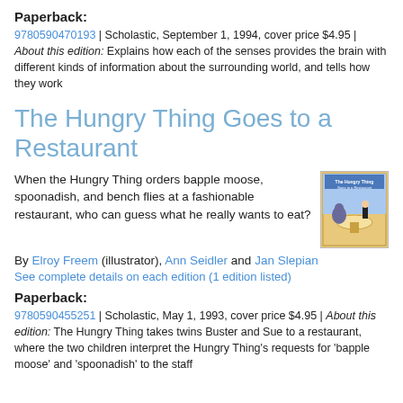Paperback:
9780590470193 | Scholastic, September 1, 1994, cover price $4.95 | About this edition: Explains how each of the senses provides the brain with different kinds of information about the surrounding world, and tells how they work
The Hungry Thing Goes to a Restaurant
When the Hungry Thing orders bapple moose, spoonadish, and bench flies at a fashionable restaurant, who can guess what he really wants to eat?
[Figure (photo): Book cover of The Hungry Thing Goes to a Restaurant]
By Elroy Freem (illustrator), Ann Seidler and Jan Slepian
See complete details on each edition (1 edition listed)
Paperback:
9780590455251 | Scholastic, May 1, 1993, cover price $4.95 | About this edition: The Hungry Thing takes twins Buster and Sue to a restaurant, where the two children interpret the Hungry Thing's requests for 'bapple moose' and 'spoonadish' to the staff